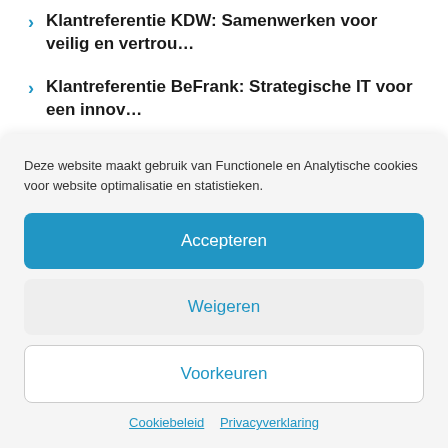Klantreferentie KDW: Samenwerken voor veilig en vertrou…
Klantreferentie BeFrank: Strategische IT voor een innov…
Wie durft te experimenteren met data in de zorg?
Deze website maakt gebruik van Functionele en Analytische cookies voor website optimalisatie en statistieken.
Accepteren
Weigeren
Voorkeuren
Cookiebeleid   Privacyverklaring